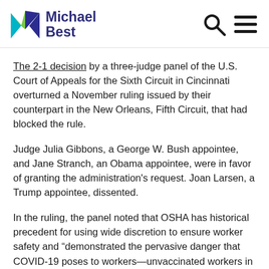Michael Best
The 2-1 decision by a three-judge panel of the U.S. Court of Appeals for the Sixth Circuit in Cincinnati overturned a November ruling issued by their counterpart in the New Orleans, Fifth Circuit, that had blocked the rule.
Judge Julia Gibbons, a George W. Bush appointee, and Jane Stranch, an Obama appointee, were in favor of granting the administration's request. Joan Larsen, a Trump appointee, dissented.
In the ruling, the panel noted that OSHA has historical precedent for using wide discretion to ensure worker safety and “demonstrated the pervasive danger that COVID-19 poses to workers—unvaccinated workers in particular—in their workplaces.”